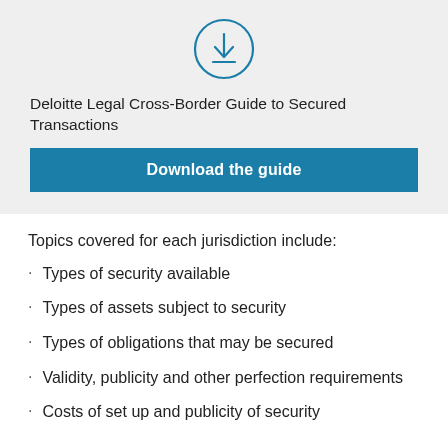[Figure (illustration): Download icon: circle with downward arrow and tray, outlined in teal/blue color]
Deloitte Legal Cross-Border Guide to Secured Transactions
Download the guide
Topics covered for each jurisdiction include:
Types of security available
Types of assets subject to security
Types of obligations that may be secured
Validity, publicity and other perfection requirements
Costs of set up and publicity of security